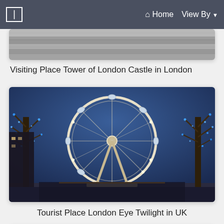☰ Home  View By ▼
[Figure (photo): Partially visible image of Tower of London Castle]
Visiting Place Tower of London Castle in London
[Figure (photo): London Eye ferris wheel at twilight with blue fairy lights on trees, UK]
Tourist Place London Eye Twilight in UK
[Figure (photo): Partially visible blue image — third card]